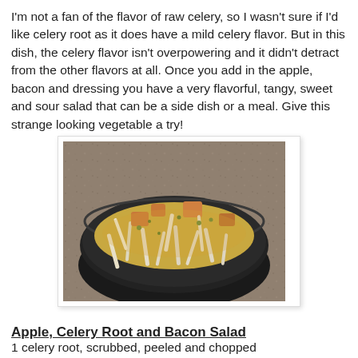I'm not a fan of the flavor of raw celery, so I wasn't sure if I'd like celery root as it does have a mild celery flavor. But in this dish, the celery flavor isn't overpowering and it didn't detract from the other flavors at all. Once you add in the apple, bacon and dressing you have a very flavorful, tangy, sweet and sour salad that can be a side dish or a meal. Give this strange looking vegetable a try!
[Figure (photo): A black bowl filled with a salad of julienned celery root, chopped apple pieces, and herbs, sitting on a granite countertop.]
Apple, Celery Root and Bacon Salad
1 celery root, scrubbed, peeled and chopped